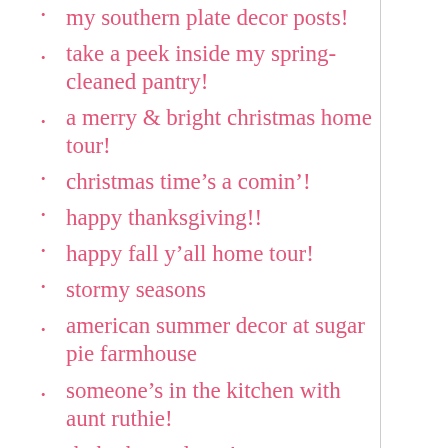my southern plate decor posts!
take a peek inside my spring-cleaned pantry!
a merry & bright christmas home tour!
christmas time’s a comin’!
happy thanksgiving!!
happy fall y’all home tour!
stormy seasons
american summer decor at sugar pie farmhouse
someone’s in the kitchen with aunt ruthie!
rhubarb goodness!
oh my! have you heard? southern sweetness comin’ right up!
a cute ‘n cheerful country kitchen cooking tray!